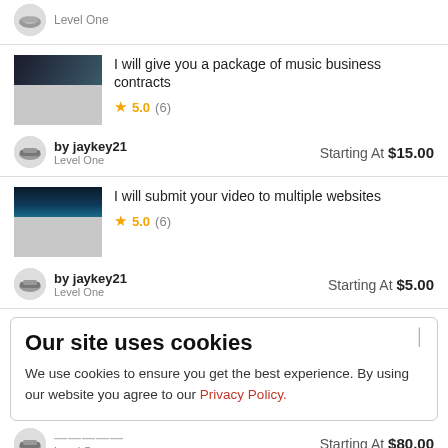Level One
I will give you a package of music business contracts
★ 5.0 (6)
by jaykey21
Level One
Starting At $15.00
I will submit your video to multiple websites
★ 5.0 (6)
by jaykey21
Level One
Starting At $5.00
Our site uses cookies
We use cookies to ensure you get the best experience. By using our website you agree to our Privacy Policy.
Starting At $80.00
Level One